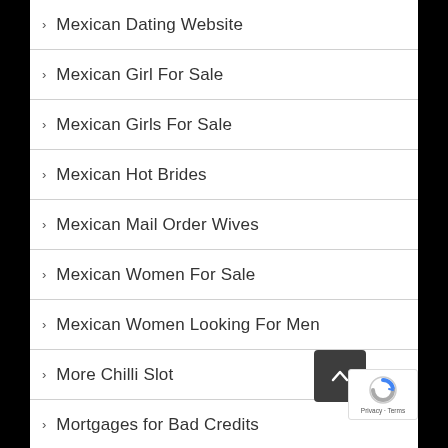Mexican Dating Website
Mexican Girl For Sale
Mexican Girls For Sale
Mexican Hot Brides
Mexican Mail Order Wives
Mexican Women For Sale
Mexican Women Looking For Men
More Chilli Slot
Mortgages for Bad Credits
Most Beautiful Asian W...